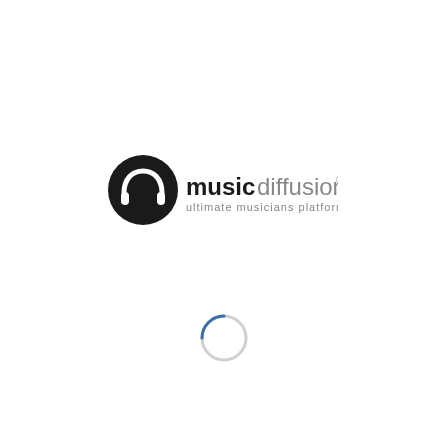[Figure (logo): MusicDiffusion logo with a black circle containing a stylized 'm' letter mark, followed by the text 'musicdiffusion' (music in bold black, diffusion in gray) and subtitle 'ultimate musicians platform' in gray. Below the logo is a loading spinner circle.]